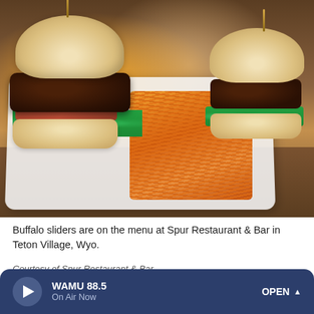[Figure (photo): Close-up photo of buffalo sliders on a white plate with shredded carrots, served on a wooden table at Spur Restaurant & Bar in Teton Village, Wyoming]
Buffalo sliders are on the menu at Spur Restaurant & Bar in Teton Village, Wyo.
Courtesy of Spur Restaurant & Bar
WAMU 88.5 On Air Now OPEN